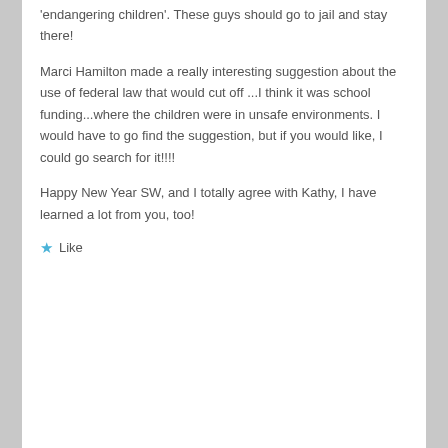'endangering children'. These guys should go to jail and stay there!
Marci Hamilton made a really interesting suggestion about the use of federal law that would cut off ...I think it was school funding...where the children were in unsafe environments. I would have to go find the suggestion, but if you would like, I could go search for it!!!!
Happy New Year SW, and I totally agree with Kathy, I have learned a lot from you, too!
Like